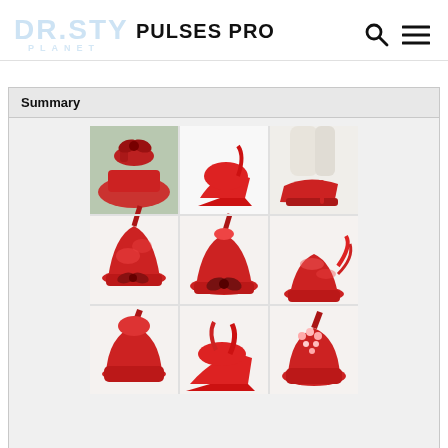[Figure (logo): Dr. Stylu Planet logo — light blue watermark style text logo]
PULSES PRO
[Figure (infographic): Search icon (magnifying glass) and hamburger menu icon in navigation bar]
Summary
[Figure (photo): 3x3 grid collage of red high heel shoes and sandals, various styles including strappy sandals, peep-toe heels, lace heels, platform heels, and ankle-wrap sandals]